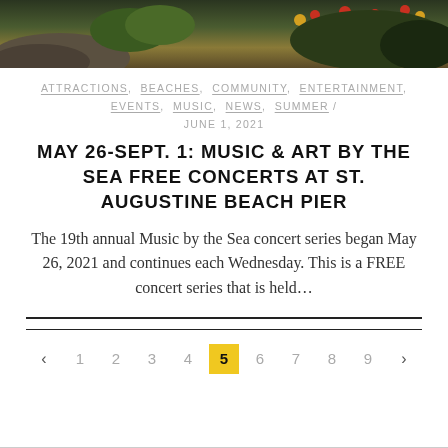[Figure (photo): Outdoor nature photo showing rocks, green foliage, and yellow-red wildflowers against a dark background]
ATTRACTIONS, BEACHES, COMMUNITY, ENTERTAINMENT, EVENTS, MUSIC, NEWS, SUMMER / JUNE 1, 2021
MAY 26-SEPT. 1: MUSIC & ART BY THE SEA FREE CONCERTS AT ST. AUGUSTINE BEACH PIER
The 19th annual Music by the Sea concert series began May 26, 2021 and continues each Wednesday. This is a FREE concert series that is held...
‹ 1 2 3 4 5 6 7 8 9 ›